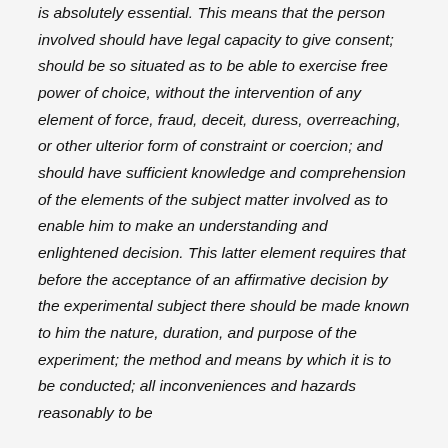is absolutely essential. This means that the person involved should have legal capacity to give consent; should be so situated as to be able to exercise free power of choice, without the intervention of any element of force, fraud, deceit, duress, overreaching, or other ulterior form of constraint or coercion; and should have sufficient knowledge and comprehension of the elements of the subject matter involved as to enable him to make an understanding and enlightened decision. This latter element requires that before the acceptance of an affirmative decision by the experimental subject there should be made known to him the nature, duration, and purpose of the experiment; the method and means by which it is to be conducted; all inconveniences and hazards reasonably to be